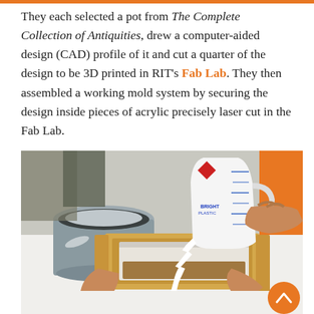They each selected a pot from The Complete Collection of Antiquities, drew a computer-aided design (CAD) profile of it and cut a quarter of the design to be 3D printed in RIT's Fab Lab. They then assembled a working mold system by securing the design inside pieces of acrylic precisely laser cut in the Fab Lab.
[Figure (photo): A person pouring white liquid (plaster or resin) from a measuring cup into a wooden mold box on a white table, with a metal bucket visible in the background.]